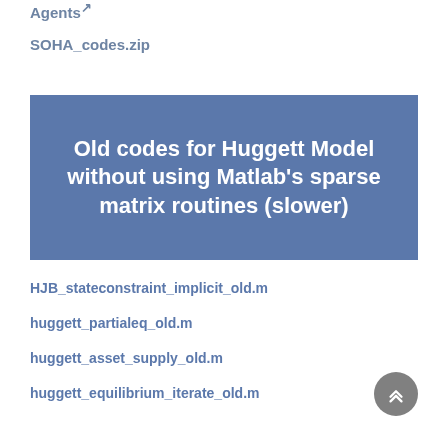Agents
SOHA_codes.zip
[Figure (other): Blue banner with white bold text reading: Old codes for Huggett Model without using Matlab's sparse matrix routines (slower)]
HJB_stateconstraint_implicit_old.m
huggett_partialeq_old.m
huggett_asset_supply_old.m
huggett_equilibrium_iterate_old.m